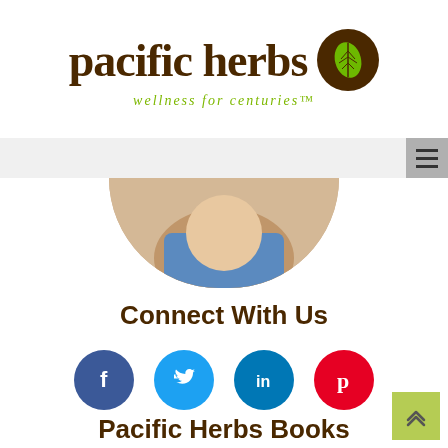[Figure (logo): Pacific Herbs logo with brown text, leaf icon in brown circle, and green tagline 'wellness for centuries']
[Figure (photo): Cropped circular profile photo of a person, showing bottom portion]
Connect With Us
[Figure (infographic): Four social media icons in circles: Facebook (dark blue, f), Twitter (light blue, bird), LinkedIn (blue, in), Pinterest (red, p)]
Pacific Herbs Books